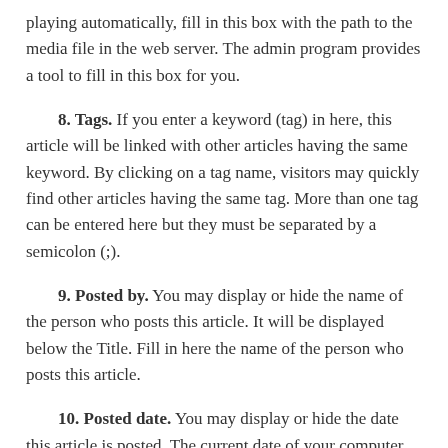playing automatically, fill in this box with the path to the media file in the web server. The admin program provides a tool to fill in this box for you.
8. Tags. If you enter a keyword (tag) in here, this article will be linked with other articles having the same keyword. By clicking on a tag name, visitors may quickly find other articles having the same tag. More than one tag can be entered here but they must be separated by a semicolon (;).
9. Posted by. You may display or hide the name of the person who posts this article. It will be displayed below the Title. Fill in here the name of the person who posts this article.
10. Posted date. You may display or hide the date this article is posted. The current date of your computer will be automatically filled in here.
NOTE: When you copy an existing article to make a new one, the